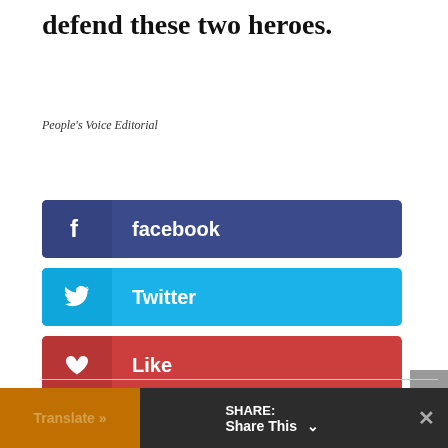defend these two heroes.
People's Voice Editorial
[Figure (infographic): Social share buttons: facebook, Twitter, Like, Gmail]
Translate » | SHARE: Share This ∨ | ×